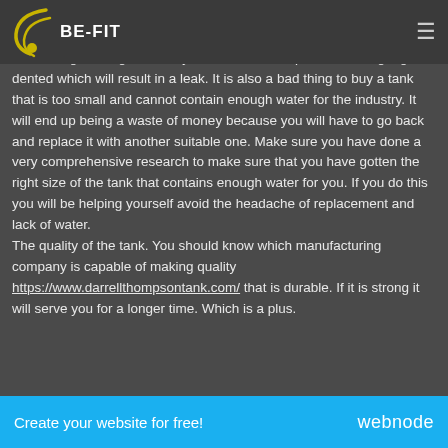BE-FIT
The size of the tanks should be a huge consideration. You do not want to buy something that will end up to be too big. This is because you will lack enough storage for it. If you decide to squeeze it, it might get dented which will result in a leak. It is also a bad thing to buy a tank that is too small and cannot contain enough water for the industry. It will end up being a waste of money because you will have to go back and replace it with another suitable one. Make sure you have done a very comprehensive research to make sure that you have gotten the right size of the tank that contains enough water for you. If you do this you will be helping yourself avoid the headache of replacement and lack of water. The quality of the tank. You should know which manufacturing company is capable of making quality https://www.darrellthompsontank.com/ that is durable. If it is strong it will serve you for a longer time. Which is a plus.
Create your website for free!    webnode